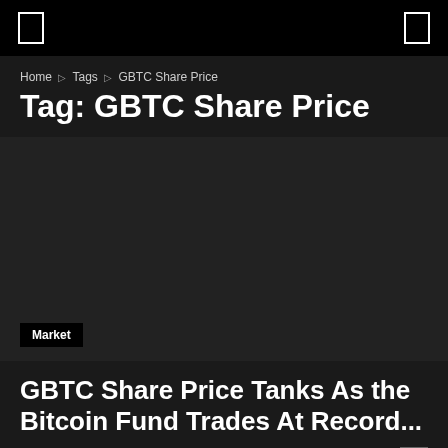Home › Tags › GBTC Share Price
Tag: GBTC Share Price
[Figure (other): Dark placeholder image area for article thumbnail]
Market
GBTC Share Price Tanks As the Bitcoin Fund Trades At Record...
Thomas Hernandez - January 20, 2022